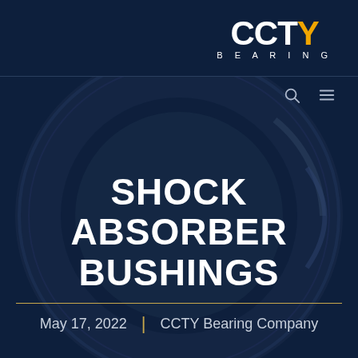[Figure (logo): CCTY Bearing company logo: bold white letters CCTY with the Y in orange/gold, and BEARING in spaced white letters below]
[Figure (photo): Dark navy blue background with a large circular bearing ring visible as a background image, creating an oval/ring shape]
SHOCK ABSORBER BUSHINGS
May 17, 2022 | CCTY Bearing Company